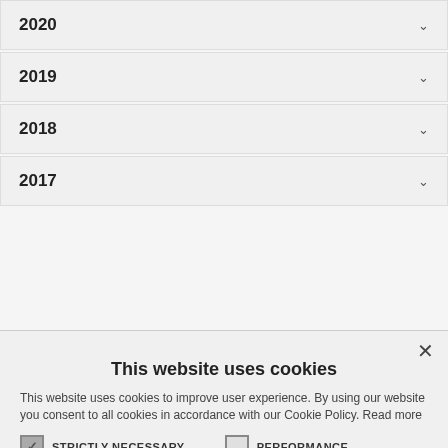2020
2019
2018
2017
This website uses cookies
This website uses cookies to improve user experience. By using our website you consent to all cookies in accordance with our Cookie Policy. Read more
STRICTLY NECESSARY   PERFORMANCE   UNCLASSIFIED
I AGREE   DECLINE ALL
SHOW DETAILS